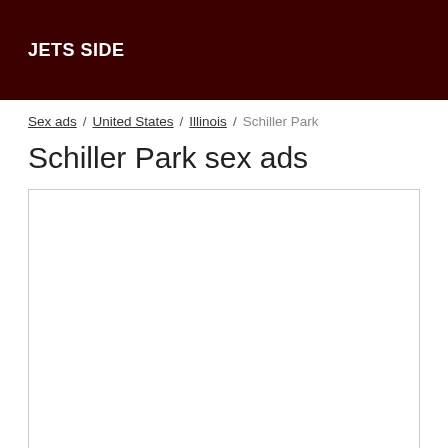JETS SIDE
Sex ads / United States / Illinois / Schiller Park
Schiller Park sex ads
[Figure (other): Empty white content box with border, representing an ad listing area]